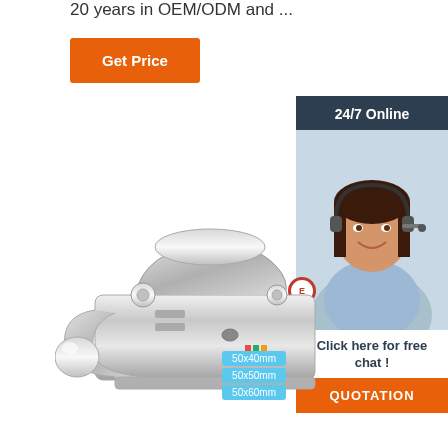20 years in OEM/ODM and ...
Get Price
[Figure (photo): Customer service representative with headset, smiling, with '24/7 Online' header, 'Click here for free chat!' text, and an orange QUOTATION button]
[Figure (photo): Shiny chrome trailer coupling/hitch lock mechanism product photo on white background]
50x40mm
50x50mm
50x60mm